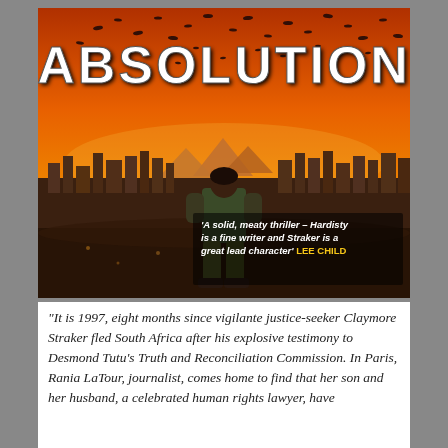[Figure (illustration): Book cover for 'Absolution'. Large white bold title 'ABSOLUTION' at top with birds flying around the letters. A figure (person viewed from behind) stands looking out over a city skyline with pyramids in the background under a dramatic orange sunset sky. A quote reads: 'A solid, meaty thriller – Hardisty is a fine writer and Straker is a great lead character' LEE CHILD (in yellow).]
“It is 1997, eight months since vigilante justice-seeker Claymore Straker fled South Africa after his explosive testimony to Desmond Tutu’s Truth and Reconciliation Commission. In Paris, Rania LaTour, journalist, comes home to find that her son and her husband, a celebrated human rights lawyer, have